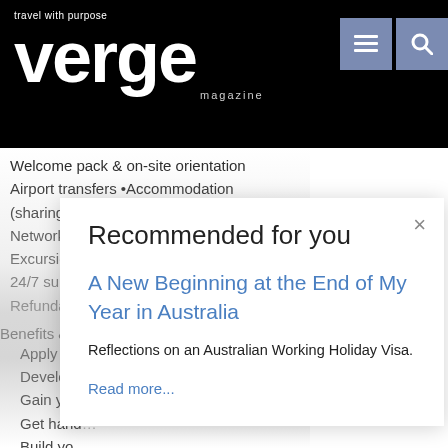[Figure (logo): Verge Magazine logo with tagline 'travel with purpose' on black background, with navigation menu and search icons]
Welcome pack & on-site orientation
Airport transfers •Accommodation (sharing & private)
Networking and cultural events
Excursions and trips
24/7 sup...
Refunda...
Benefits & ...
Apply yo...
Develop...
Gain you...
Get hand...
Build yo...
Recommended for you
A New Beginning at the End of My Year in Australia
Reflections on an Australian Working Holiday Visa.
Read more...